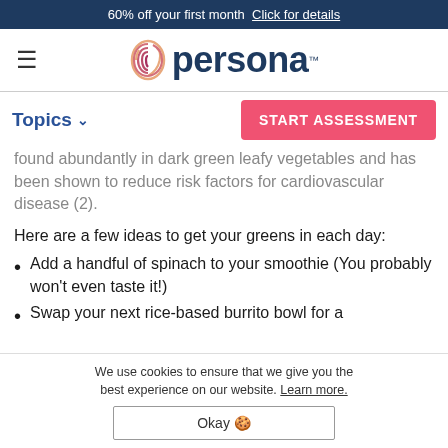60% off your first month  Click for details
[Figure (logo): Persona logo with fingerprint icon and dark blue wordmark]
Topics ∨
START ASSESSMENT
found abundantly in dark green leafy vegetables and has been shown to reduce risk factors for cardiovascular disease (2).
Here are a few ideas to get your greens in each day:
Add a handful of spinach to your smoothie (You probably won't even taste it!)
Swap your next rice-based burrito bowl for a
We use cookies to ensure that we give you the best experience on our website. Learn more.
Okay 🍪